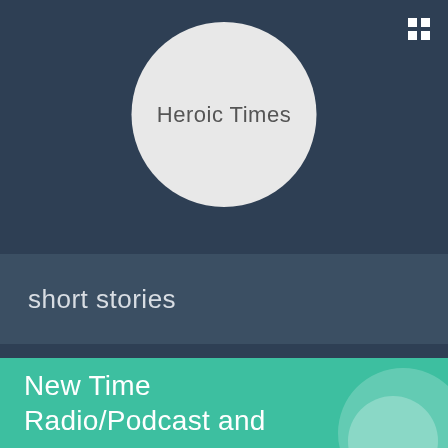[Figure (logo): Light grey circle with text 'Heroic Times' in thin grey font, centered on dark blue background]
Heroic Times
short stories
New Time Radio/Podcast and